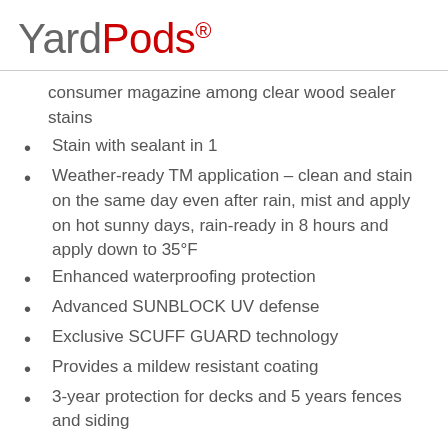YardPods®
consumer magazine among clear wood sealer stains
Stain with sealant in 1
Weather-ready TM application – clean and stain on the same day even after rain, mist and apply on hot sunny days, rain-ready in 8 hours and apply down to 35°F
Enhanced waterproofing protection
Advanced SUNBLOCK UV defense
Exclusive SCUFF GUARD technology
Provides a mildew resistant coating
3-year protection for decks and 5 years fences and siding
YardPod Notes: